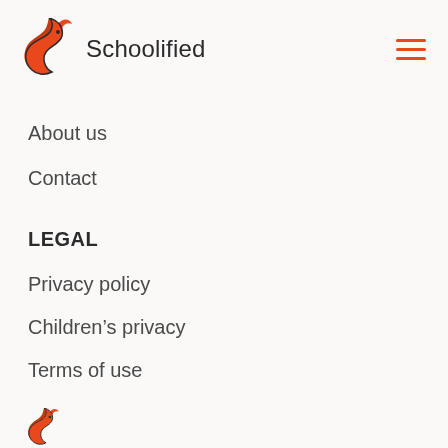Schoolified
About us
Contact
LEGAL
Privacy policy
Children's privacy
Terms of use
[Figure (logo): Schoolified fox logo (partial), bottom of page]